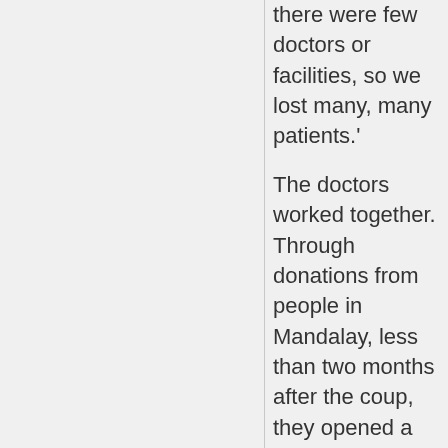there were few doctors or facilities, so we lost many, many patients.'
The doctors worked together. Through donations from people in Mandalay, less than two months after the coup, they opened a 100-bed hospital.